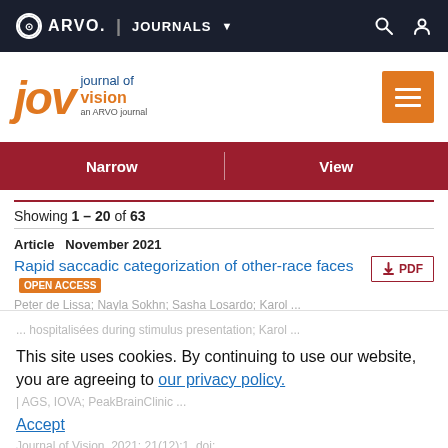ARVO. JOURNALS
[Figure (logo): Journal of Vision (JOV) logo - an ARVO journal, with orange menu button]
Narrow | View
Showing 1 – 20 of 63
Article   November 2021
Rapid saccadic categorization of other-race faces OPEN ACCESS
Peter de Lissa; Nayla Sokhn; Sasha Losardo; Karol ...
This site uses cookies. By continuing to use our website, you are agreeing to our privacy policy. Accept